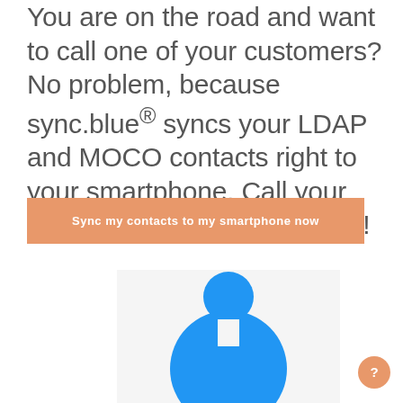You are on the road and want to call one of your customers? No problem, because sync.blue® syncs your LDAP and MOCO contacts right to your smartphone. Call your customers wherever you are!
Sync my contacts to my smartphone now
[Figure (illustration): Partial view of a blue circular person/user icon on a light grey background, cropped at bottom of page]
[Figure (other): Orange circular help/question mark button in bottom right corner]